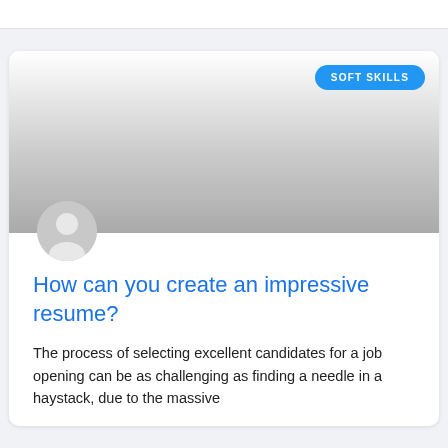[Figure (illustration): Gray gradient banner image placeholder with a circular avatar icon in the bottom-left corner]
SOFT SKILLS
How can you create an impressive resume?
The process of selecting excellent candidates for a job opening can be as challenging as finding a needle in a haystack, due to the massive